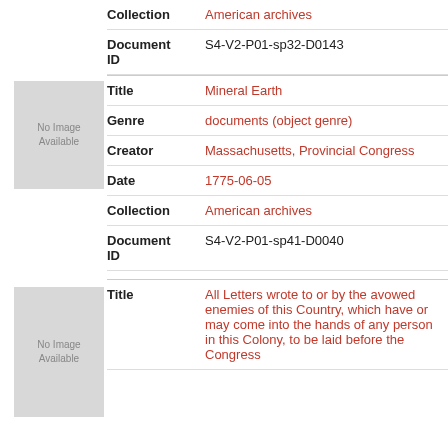| Field | Value |
| --- | --- |
| Collection | American archives |
| Document ID | S4-V2-P01-sp32-D0143 |
| Field | Value |
| --- | --- |
| Title | Mineral Earth |
| Genre | documents (object genre) |
| Creator | Massachusetts, Provincial Congress |
| Date | 1775-06-05 |
| Collection | American archives |
| Document ID | S4-V2-P01-sp41-D0040 |
| Field | Value |
| --- | --- |
| Title | All Letters wrote to or by the avowed enemies of this Country, which have or may come into the hands of any person in this Colony, to be laid before the Congress |